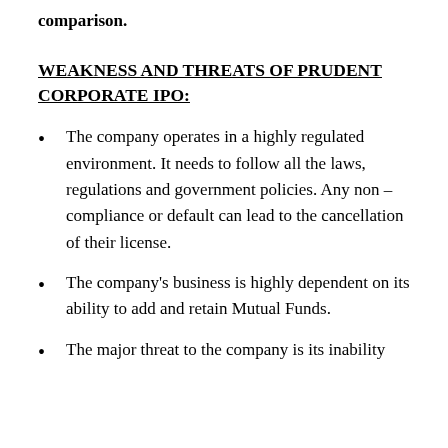comparison.
WEAKNESS AND THREATS OF PRUDENT CORPORATE IPO:
The company operates in a highly regulated environment. It needs to follow all the laws, regulations and government policies. Any non – compliance or default can lead to the cancellation of their license.
The company's business is highly dependent on its ability to add and retain Mutual Funds.
The major threat to the company is its inability